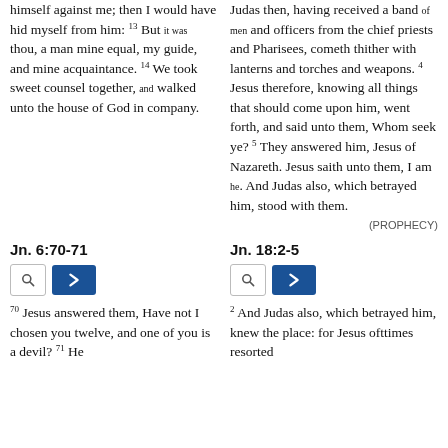himself against me; then I would have hid myself from him: 13 But it was thou, a man mine equal, my guide, and mine acquaintance. 14 We took sweet counsel together, and walked unto the house of God in company.
Judas then, having received a band of men and officers from the chief priests and Pharisees, cometh thither with lanterns and torches and weapons. 4 Jesus therefore, knowing all things that should come upon him, went forth, and said unto them, Whom seek ye? 5 They answered him, Jesus of Nazareth. Jesus saith unto them, I am he. And Judas also, which betrayed him, stood with them.
(PROPHECY)
Jn. 6:70-71
Jn. 18:2-5
70 Jesus answered them, Have not I chosen you twelve, and one of you is a devil? 71 He
2 And Judas also, which betrayed him, knew the place: for Jesus ofttimes resorted